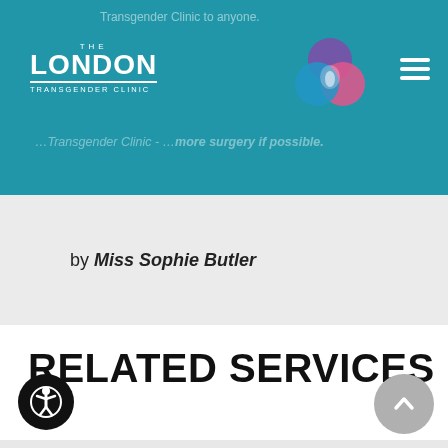Transgender Clinic to anyone.
[Figure (logo): The London Transgender Clinic logo with overlapping purple, pink, blue circles]
…Transgender Clinic - …more surgery if possible.
by Miss Sophie Butler
RELATED SERVICES
This site uses cookies to make the site simpler. Further information is provided in our Privacy Policy
Accept